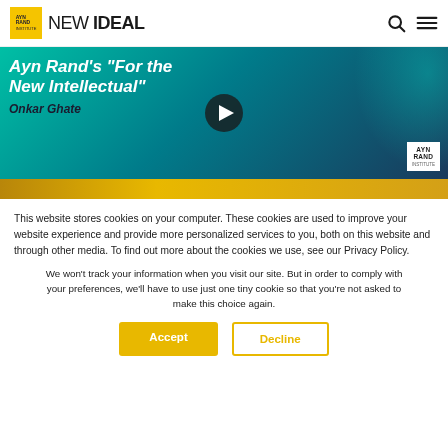NEW IDEAL
[Figure (screenshot): Video thumbnail showing text 'Ayn Rand's For the New Intellectual' with play button, author name Onkar Ghate, teal/dark background with Ayn Rand Institute logo badge]
[Figure (other): Gold/amber horizontal banner bar]
This website stores cookies on your computer. These cookies are used to improve your website experience and provide more personalized services to you, both on this website and through other media. To find out more about the cookies we use, see our Privacy Policy.
We won't track your information when you visit our site. But in order to comply with your preferences, we'll have to use just one tiny cookie so that you're not asked to make this choice again.
Accept
Decline